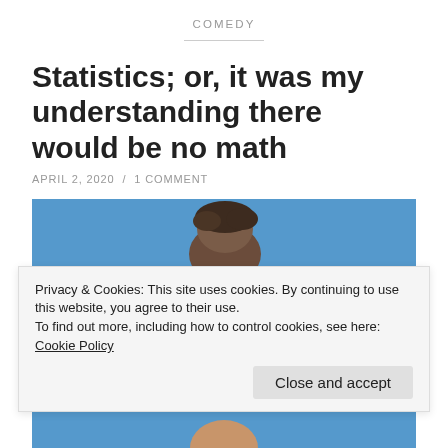COMEDY
Statistics; or, it was my understanding there would be no math
APRIL 2, 2020 / 1 COMMENT
[Figure (photo): Photo of a person's head against a blue background]
Privacy & Cookies: This site uses cookies. By continuing to use this website, you agree to their use.
To find out more, including how to control cookies, see here: Cookie Policy
Close and accept